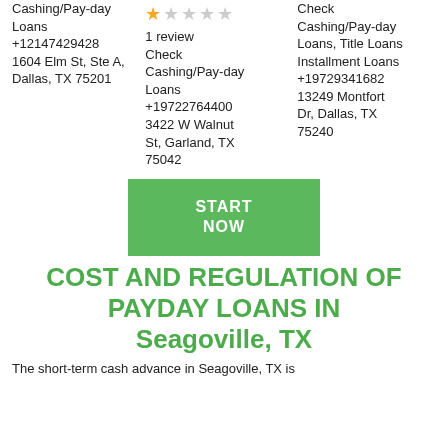Cashing/Pay-day Loans +12147429428 1604 Elm St, Ste A, Dallas, TX 75201
1 review Check Cashing/Pay-day Loans +19722764400 3422 W Walnut St, Garland, TX 75042
Check Cashing/Pay-day Loans, Title Loans Installment Loans +19729341682 13249 Montfort Dr, Dallas, TX 75240
START NOW
COST AND REGULATION OF PAYDAY LOANS IN Seagoville, TX
The short-term cash advance in Seagoville, TX is